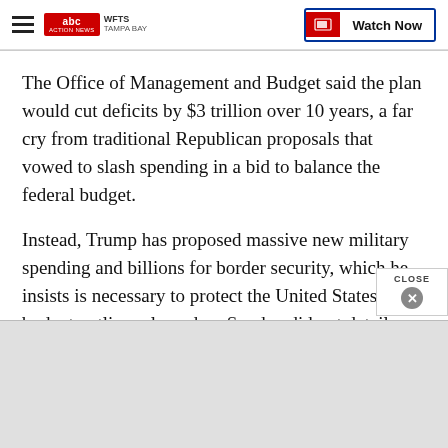WFTS Tampa Bay | ABC Action News | Watch Now
The Office of Management and Budget said the plan would cut deficits by $3 trillion over 10 years, a far cry from traditional Republican proposals that vowed to slash spending in a bid to balance the federal budget.
Instead, Trump has proposed massive new military spending and billions for border security, which he insists is necessary to protect the United States. The budget outline released on Sunday did not detail an